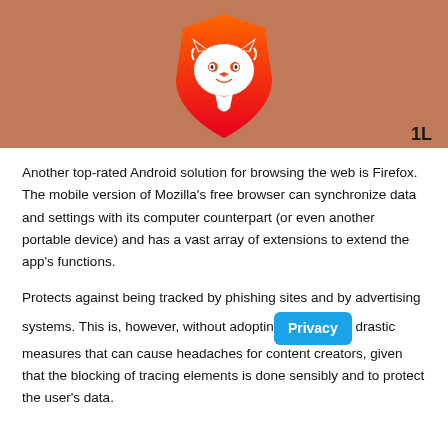[Figure (illustration): Brave browser logo — a stylized lion face on an orange-red shield gradient, centered on a brownish-tan background. A bold '1L' watermark appears in the bottom-right corner.]
Another top-rated Android solution for browsing the web is Firefox. The mobile version of Mozilla's free browser can synchronize data and settings with its computer counterpart (or even another portable device) and has a vast array of extensions to extend the app's functions.
Protects against being tracked by phishing sites and by advertising systems. This is, however, without adopting drastic measures that can cause headaches for content creators, given that the blocking of tracing elements is done sensibly and to protect the user's data.